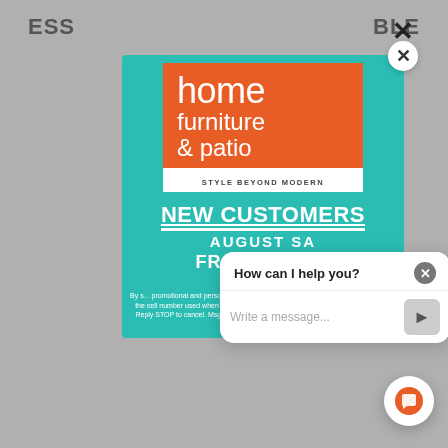[Figure (screenshot): Screenshot of a furniture retail website with a popup modal and chat widget overlay. Background shows partial website header text 'ESS...' and '...BLE'. A teal/turquoise popup modal contains the Home Furniture & Patio logo (orange and white), promotional text 'NEW CUSTOMERS', 'AUGUST SA...', and a legal disclaimer. A chat widget shows 'How can I help you?' with a text input field. An orange chat bubble button appears in the bottom right.]